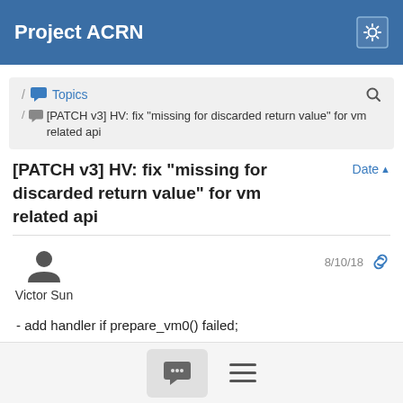Project ACRN
/ Topics / [PATCH v3] HV: fix "missing for discarded return value" for vm related api
[PATCH v3] HV: fix "missing for discarded return value" for vm related api
Date ▲
Victor Sun  8/10/18
- add handler if prepare_vm0() failed;
- remove assert in start_vm() and return -1 if failed;